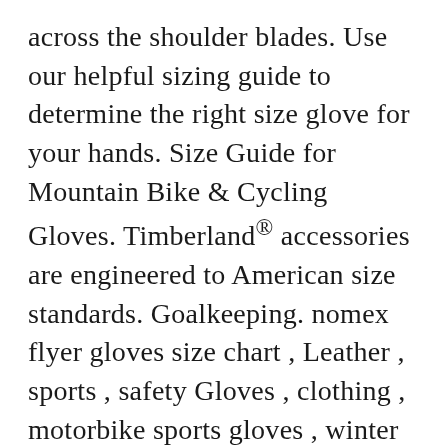across the shoulder blades. Use our helpful sizing guide to determine the right size glove for your hands. Size Guide for Mountain Bike & Cycling Gloves. Timberland® accessories are engineered to American size standards. Goalkeeping. nomex flyer gloves size chart , Leather , sports , safety Gloves , clothing , motorbike sports gloves , winter ski sports gloves,all kind of gloves mfg [email protected] +92 333 8655424 $ 0.00 0 7½ to 8. free shipping on usd & cad orders over $99! Find your fit - size charts for Fox gloves, helmets, youth sizes and